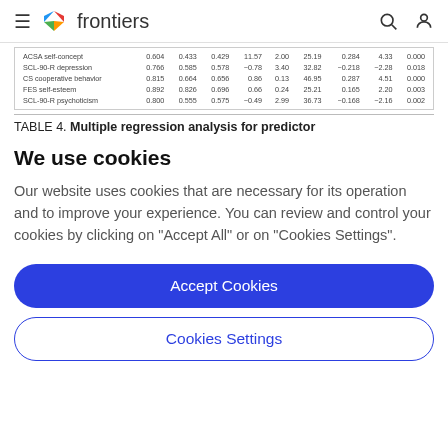frontiers
| ACSA self-concept | 0.604 | 0.433 | 0.429 | 11.57 | 2.00 | 25.19 | 0.284 | 4.33 | 0.000 |
| SCL-90-R depression | 0.766 | 0.585 | 0.578 | -0.78 | 3.40 | 32.82 | -0.218 | -2.28 | 0.018 |
| CS cooperative behavior | 0.815 | 0.664 | 0.656 | 0.86 | 0.13 | 46.95 | 0.287 | 4.51 | 0.000 |
| FES self-esteem | 0.892 | 0.826 | 0.696 | 0.66 | 0.24 | 25.21 | 0.165 | 2.20 | 0.003 |
| SCL-90-R psychoticism | 0.800 | 0.555 | 0.575 | -0.49 | 2.99 | 36.73 | -0.168 | -2.16 | 0.002 |
TABLE 4. Multiple regression analysis for predictor
We use cookies
Our website uses cookies that are necessary for its operation and to improve your experience. You can review and control your cookies by clicking on "Accept All" or on "Cookies Settings".
Accept Cookies
Cookies Settings